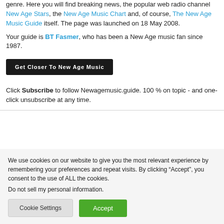genre. Here you will find breaking news, the popular web radio channel New Age Stars, the New Age Music Chart and, of course, The New Age Music Guide itself. The page was launched on 18 May 2008.
Your guide is BT Fasmer, who has been a New Age music fan since 1987.
[Figure (other): Black button labeled 'Get Closer To New Age Music']
Click Subscribe to follow Newagemusic.guide. 100 % on topic - and one-click unsubscribe at any time.
We use cookies on our website to give you the most relevant experience by remembering your preferences and repeat visits. By clicking “Accept”, you consent to the use of ALL the cookies.
Do not sell my personal information.
Cookie Settings | Accept